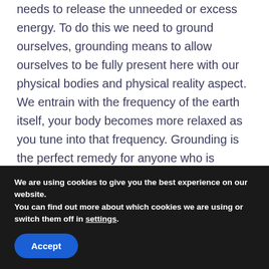needs to release the unneeded or excess energy. To do this we need to ground ourselves, grounding means to allow ourselves to be fully present here with our physical bodies and physical reality aspect. We entrain with the frequency of the earth itself, your body becomes more relaxed as you tune into that frequency. Grounding is the perfect remedy for anyone who is feeling dizzy, space out, drained, confused, overwhelmed, panicked, or angry.
Below are some tips on how to manage your spiritual
We are using cookies to give you the best experience on our website.
You can find out more about which cookies we are using or switch them off in settings.